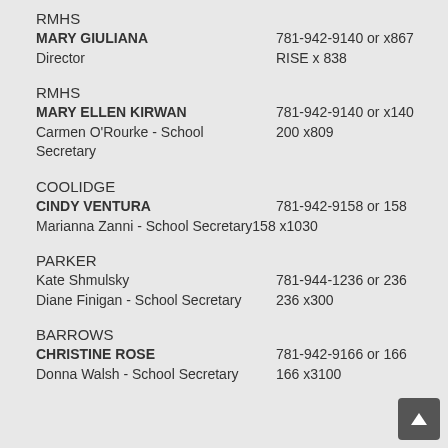RMHS
MARY GIULIANA
Director
781-942-9140 or x867
RISE x 838
RMHS
MARY ELLEN KIRWAN
Carmen O'Rourke - School Secretary
781-942-9140 or x140
200 x809
COOLIDGE
CINDY VENTURA
Marianna Zanni - School Secretary
781-942-9158 or 158
158 x1030
PARKER
Kate Shmulsky
Diane Finigan - School Secretary
781-944-1236 or 236
236 x300
BARROWS
CHRISTINE ROSE
Donna Walsh - School Secretary
781-942-9166 or 166
166 x3100